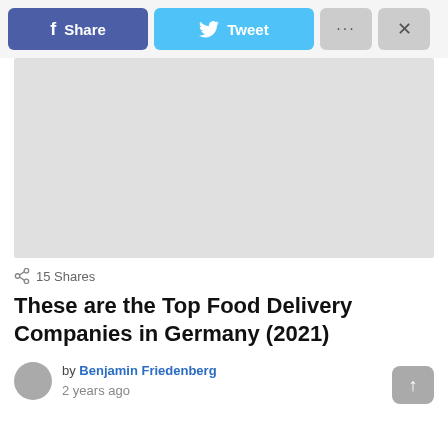[Figure (screenshot): Social share bar with Facebook Share button (blue/purple), Twitter Tweet button (light blue), ellipsis button (gray), and close X button (gray)]
[Figure (photo): Large gray placeholder image area]
15 Shares
These are the Top Food Delivery Companies in Germany (2021)
by Benjamin Friedenberg
2 years ago